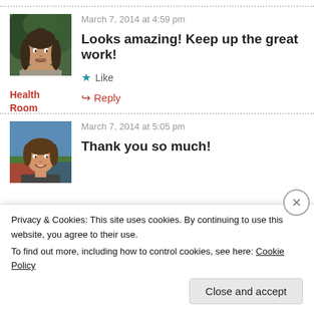March 7, 2014 at 4:59 pm
Looks amazing! Keep up the great work!
Health Room
Like
Reply
March 7, 2014 at 5:05 pm
Thank you so much!
Privacy & Cookies: This site uses cookies. By continuing to use this website, you agree to their use. To find out more, including how to control cookies, see here: Cookie Policy
Close and accept